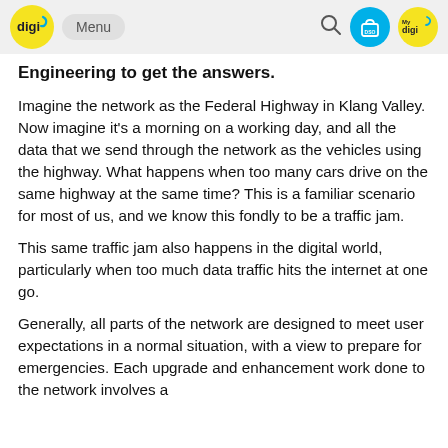digi | Menu
Engineering to get the answers.
Imagine the network as the Federal Highway in Klang Valley. Now imagine it's a morning on a working day, and all the data that we send through the network as the vehicles using the highway. What happens when too many cars drive on the same highway at the same time? This is a familiar scenario for most of us, and we know this fondly to be a traffic jam.
This same traffic jam also happens in the digital world, particularly when too much data traffic hits the internet at one go.
Generally, all parts of the network are designed to meet user expectations in a normal situation, with a view to prepare for emergencies. Each upgrade and enhancement work done to the network involves a